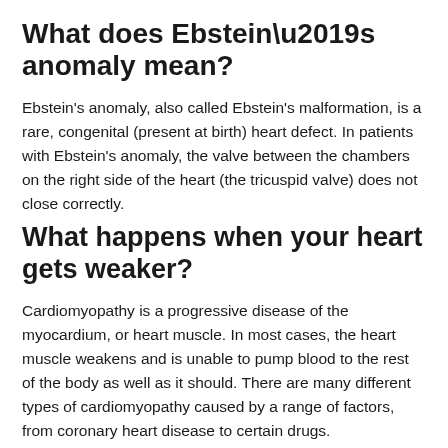What does Ebstein’s anomaly mean?
Ebstein's anomaly, also called Ebstein's malformation, is a rare, congenital (present at birth) heart defect. In patients with Ebstein's anomaly, the valve between the chambers on the right side of the heart (the tricuspid valve) does not close correctly.
What happens when your heart gets weaker?
Cardiomyopathy is a progressive disease of the myocardium, or heart muscle. In most cases, the heart muscle weakens and is unable to pump blood to the rest of the body as well as it should. There are many different types of cardiomyopathy caused by a range of factors, from coronary heart disease to certain drugs.
What is the most rare heart disease?